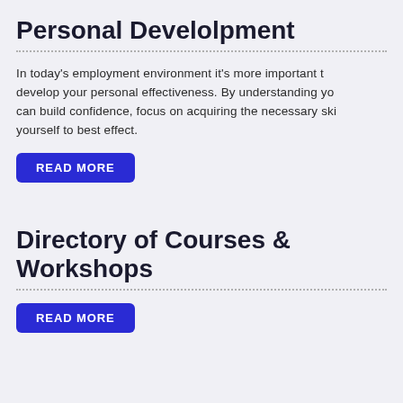Personal Develolpment
In today's employment environment it's more important than ever to develop your personal effectiveness. By understanding yourself you can build confidence, focus on acquiring the necessary skills and present yourself to best effect.
READ MORE
Directory of Courses & Workshops
READ MORE